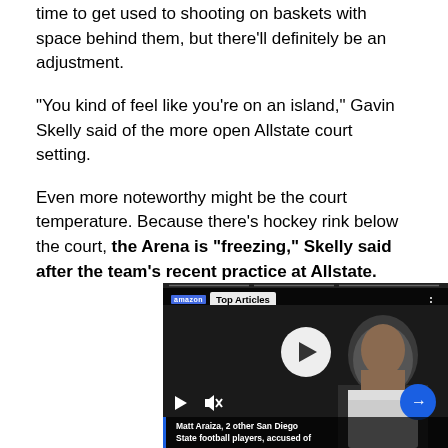time to get used to shooting on baskets with space behind them, but there'll definitely be an adjustment.
"You kind of feel like you're on an island," Gavin Skelly said of the more open Allstate court setting.
Even more noteworthy might be the court temperature. Because there's hockey rink below the court, the Arena is "freezing," Skelly said after the team's recent practice at Allstate.
[Figure (screenshot): Video player screenshot showing a man in a white shirt, with 'Top Articles' label and play button overlay. Bottom caption reads: 'Matt Araiza, 2 other San Diego State football players, accused of']